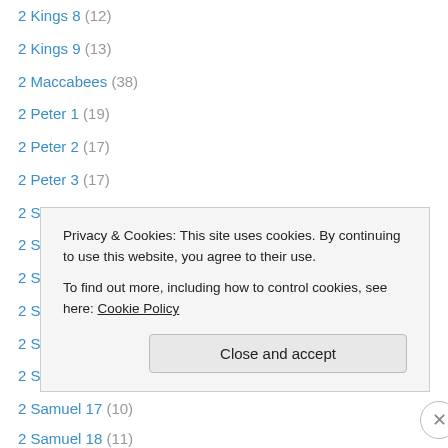2 Kings 8 (12)
2 Kings 9 (13)
2 Maccabees (38)
2 Peter 1 (19)
2 Peter 2 (17)
2 Peter 3 (17)
2 Samuel 1 (10)
2 Samuel 11 (16)
2 Samuel 12 (16)
2 Samuel 13 (8)
2 Samuel 15 (8)
2 Samuel 16 (7)
2 Samuel 17 (10)
2 Samuel 18 (11)
Privacy & Cookies: This site uses cookies. By continuing to use this website, you agree to their use. To find out more, including how to control cookies, see here: Cookie Policy